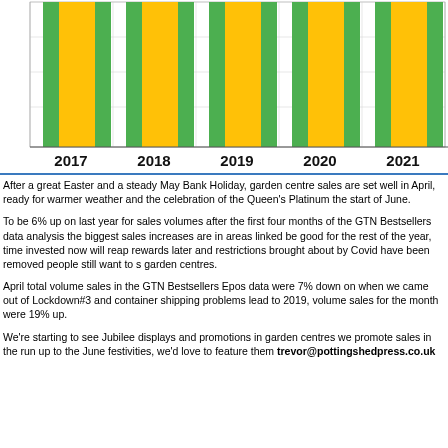[Figure (bar-chart): Garden Centre Sales by Year]
After a great Easter and a steady May Bank Holiday, garden centre sales are set well in April, ready for warmer weather and the celebration of the Queen's Platinum the start of June.
To be 6% up on last year for sales volumes after the first four months of the GTN Bestsellers data analysis the biggest sales increases are in areas linked be good for the rest of the year, time invested now will reap rewards later and restrictions brought about by Covid have been removed people still want to s garden centres.
April total volume sales in the GTN Bestsellers Epos data were 7% down on when we came out of Lockdown#3 and container shipping problems lead to 2019, volume sales for the month were 19% up.
We're starting to see Jubilee displays and promotions in garden centres we promote sales in the run up to the June festivities, we'd love to feature them trevor@pottingshedpress.co.uk